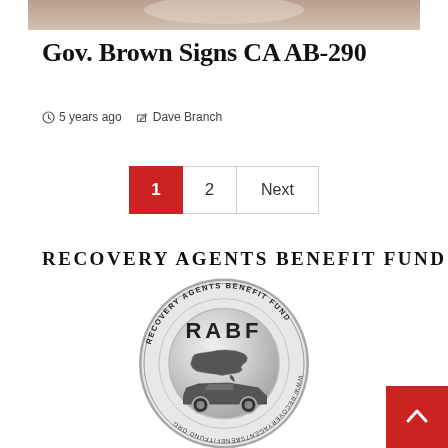[Figure (photo): Partial photo visible at top of page, cropped]
Gov. Brown Signs CA AB-290
5 years ago   Dave Branch
1  2  Next
RECOVERY AGENTS BENEFIT FUND
[Figure (logo): RABF circular logo - Recovery Agents Benefit Fund seal with US map and car silhouette, www.recoveryagentsbenefitfund.org]